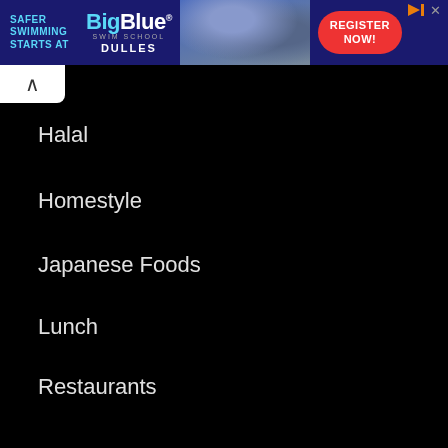[Figure (other): BigBlue Swim School advertisement banner with blue background, logo, photo of swimming instructor with child, and red 'Register Now!' button]
Halal
Homestyle
Japanese Foods
Lunch
Restaurants
Seafood
Sweet